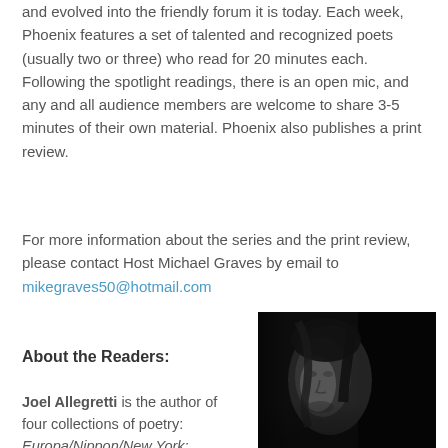and evolved into the friendly forum it is today. Each week, Phoenix features a set of talented and recognized poets (usually two or three) who read for 20 minutes each. Following the spotlight readings, there is an open mic, and any and all audience members are welcome to share 3-5 minutes of their own material. Phoenix also publishes a print review.
For more information about the series and the print review, please contact Host Michael Graves by email to mikegraves50@hotmail.com
About the Readers:
Joel Allegretti is the author of four collections of poetry: Europa/Nippon/New York: Poems/Not-Poems (Poets Wear Prada, 2012); Thrum
[Figure (photo): Black and white portrait photograph of a man with long hair, dark background, face partially lit from the side]